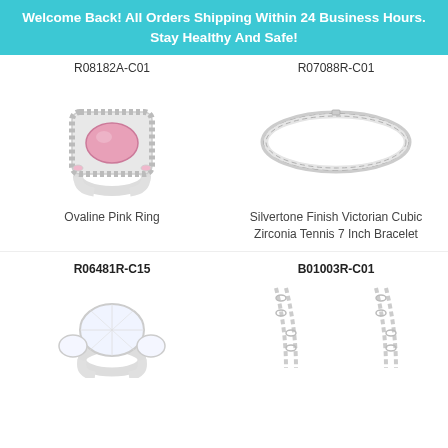Welcome Back! All Orders Shipping Within 24 Business Hours. Stay Healthy And Safe!
R08182A-C01
R07088R-C01
[Figure (photo): Ovaline Pink Ring with pink oval center stone and diamond halo]
[Figure (photo): Silvertone Finish Victorian Cubic Zirconia Tennis 7 Inch Bracelet]
Ovaline Pink Ring
Silvertone Finish Victorian Cubic Zirconia Tennis 7 Inch Bracelet
R06481R-C15
B01003R-C01
[Figure (photo): Large oval cubic zirconia ring with surrounding smaller stones]
[Figure (photo): Silver chain necklace with pendant]